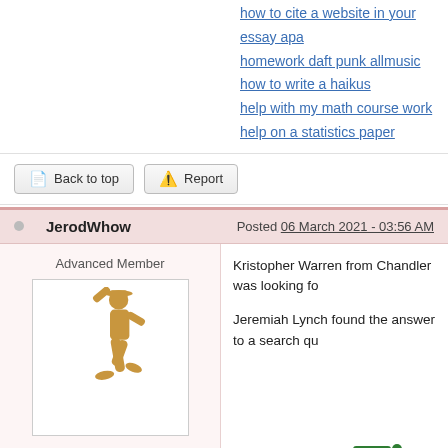how to cite a website in your essay apa
homework daft punk allmusic
how to write a haikus
help with my math course work
help on a statistics paper
Back to top    Report
JerodWhow    Posted 06 March 2021 - 03:56 AM
Advanced Member
[Figure (illustration): Golden silhouette illustration of a dancing figure (Michael Jackson-style moonwalk pose)]
Members
82,729 posts
Kristopher Warren from Chandler was looking fo
Jeremiah Lynch found the answer to a search qu
[Figure (logo): Green iEssays/Essay writing service logo with document icon]